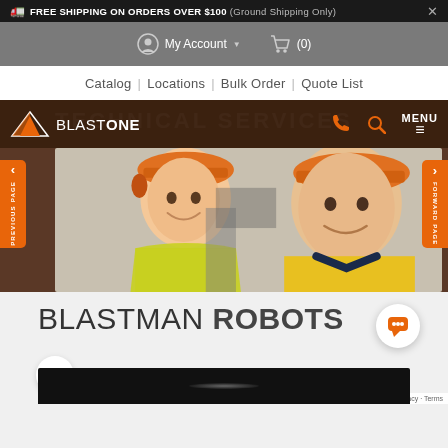FREE SHIPPING ON ORDERS OVER $100 (Ground Shipping Only)
My Account | (0)
Catalog | Locations | Bulk Order | Quote List
[Figure (screenshot): BlastOne Technical Services website screenshot showing the BlastOne logo with orange triangle graphic, navigation menu with phone and search icons, and a hero photo of two workers wearing hard hats and high-visibility vests smiling at the camera]
BLASTMAN ROBOTS